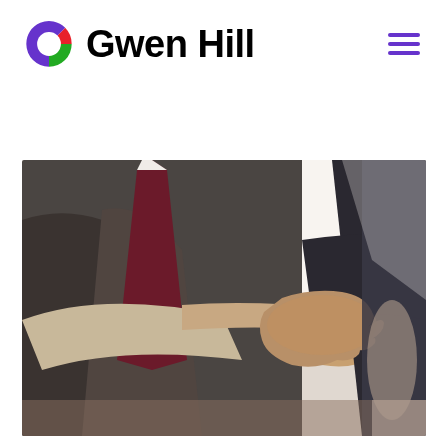[Figure (logo): Gwen Hill logo: colorful circular icon with red, green, and purple swirl segments beside bold black text 'Gwen Hill']
[Figure (photo): Two people in business suits shaking hands in an office setting, close-up shot emphasizing the handshake]